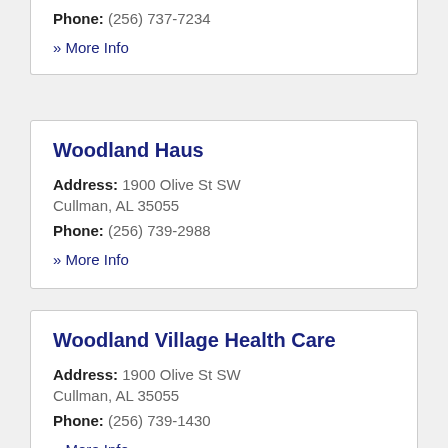Phone: (256) 737-7234
» More Info
Woodland Haus
Address: 1900 Olive St SW
Cullman, AL 35055
Phone: (256) 739-2988
» More Info
Woodland Village Health Care
Address: 1900 Olive St SW
Cullman, AL 35055
Phone: (256) 739-1430
» More Info